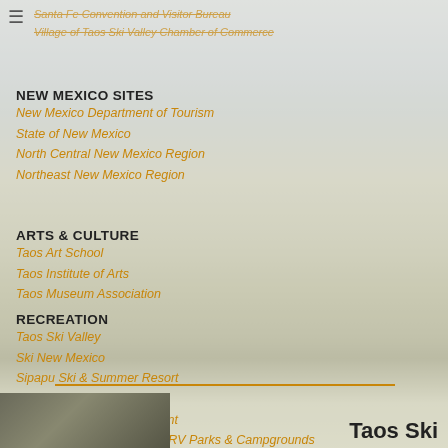Santa Fe Convention and Visitor Bureau
Village of Taos Ski Valley Chamber of Commerce
NEW MEXICO SITES
New Mexico Department of Tourism
State of New Mexico
North Central New Mexico Region
Northeast New Mexico Region
ARTS & CULTURE
Taos Art School
Taos Institute of Arts
Taos Museum Association
RECREATION
Taos Ski Valley
Ski New Mexico
Sipapu Ski & Summer Resort
Carson National Forest
Bureau of Land Management
New Mexico Association of RV Parks & Campgrounds
Red River Ski & Summer Area
Enchanted Circle Scenic Byway
Village of Angel Fire
[Figure (photo): Landscape photo of New Mexico mountains and vegetation]
Taos Ski